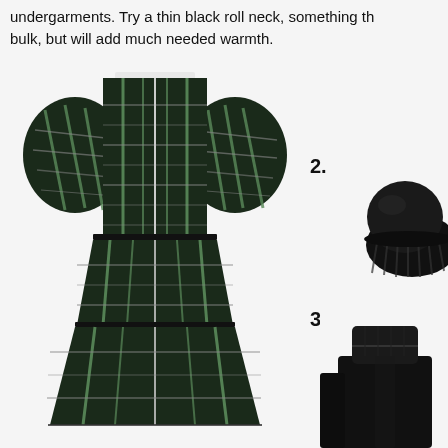undergarments. Try a thin black roll neck, something that won't add bulk, but will add much needed warmth.
[Figure (photo): Green and black plaid tiered midi dress with puff sleeves, labeled 1.]
[Figure (photo): Black ribbed knit beanie hat, labeled 2.]
[Figure (photo): Black turtleneck sweater, labeled 3.]